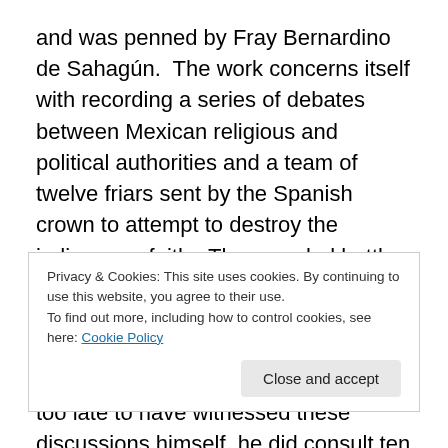and was penned by Fray Bernardino de Sahagún.  The work concerns itself with recording a series of debates between Mexican religious and political authorities and a team of twelve friars sent by the Spanish crown to attempt to destroy the indigenous faith.  These verbal battles took place in the early 1520's, shortly after the fall of the Aztec empire.  While Sahagún didn't reach Mexico until 1529 and thus was a few years too late to have witnessed these discussions himself, he did consult ten out of twelve of the friars, as well as four Mexica informants and four eminent native scholars (Antonio Veleriano, Alonso Vegeriano,
Privacy & Cookies: This site uses cookies. By continuing to use this website, you agree to their use.
To find out more, including how to control cookies, see here: Cookie Policy
The lone surviving manuscript has lost, over three